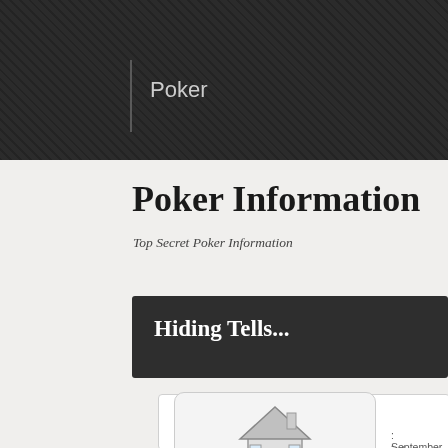Poker
Poker Information
Top Secret Poker Information
Hiding Tells...
Hiding Tells
September 5th, 2013
indy
oker
ever receive that itch? The itch to gamble, to head or stakes game of Texas hold em, to sit at a Pontoo And I love to scratch it.
ike to watch people today gamble. No two poker fac
[Figure (illustration): House/home icon for navigation]
Home
[Figure (illustration): Piggy bank icon for subscribe navigation]
Subscribe